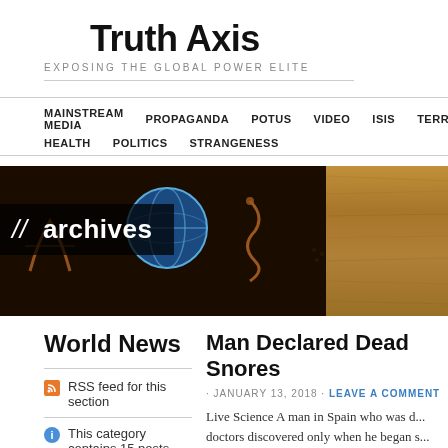Truth Axis
EXPOSING THE GLOBAL POWER ELITE
MAINSTREAM MEDIA  PROPAGANDA  POTUS  VIDEO  ISIS  TERROR  CI  HEALTH  POLITICS  STRANGENESS
[Figure (screenshot): Banner image with dark background showing a globe icon and rune-like symbols on left, straw/hay texture on right, with overlaid text '// archives' on dark semi-transparent box]
World News
RSS feed for this section
This category contains 15 posts
Man Declared Dead Snores
· JANUARY 13, 2018 · LEAVE A COMMENT
Live Science A man in Spain who was d... doctors discovered only when he began s... man, 29-year-old Gonzalo Montoya Jimé... unconscious in his cell … Continue readi...